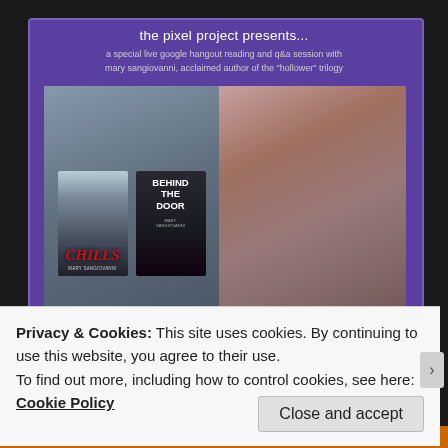the pixel project presents...
a special live google hangout reading and q&a session with mary sangiovanni, acclaimed author of the "hollower" trilogy
[Figure (photo): Event promotional flyer showing book covers (Chills and Behind the Door by Mary SanGiovanni) alongside an author photo of Mary SanGiovanni, a woman with dark hair.]
Mary will be reading and answering questions live online in support of The Pixel Project's work to stop violence against women.
in support of:
3 March 2019 | 8.30PM EST
YouTube Live: https://bit.ly/2FSvnGnm=6#3
Privacy & Cookies: This site uses cookies. By continuing to use this website, you agree to their use.
To find out more, including how to control cookies, see here:
Cookie Policy
Close and accept